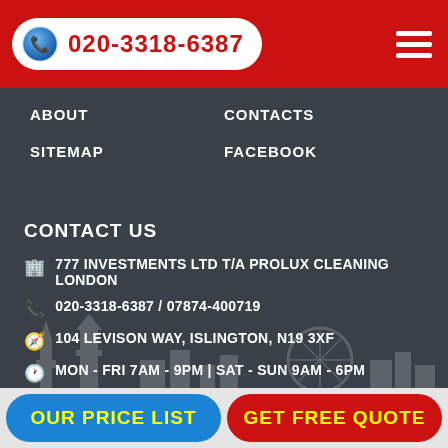020-3318-6387
ABOUT
CONTACTS
SITEMAP
FACEBOOK
CONTACT US
777 INVESTMENTS LTD T/A PROLUX CLEANING LONDON
020-3318-6387 / 07874-400719
104 LEVISON WAY, ISLINGTON, N19 3XF
MON - FRI 7AM - 9PM | SAT - SUN 9AM - 6PM
[Figure (infographic): Payment method badges: £ CASH, BANK TRANSFER, PayPal]
[Figure (illustration): London skyline silhouette watermark showing buildings and London Eye]
OUR PRICE LIST
GET FREE QUOTE